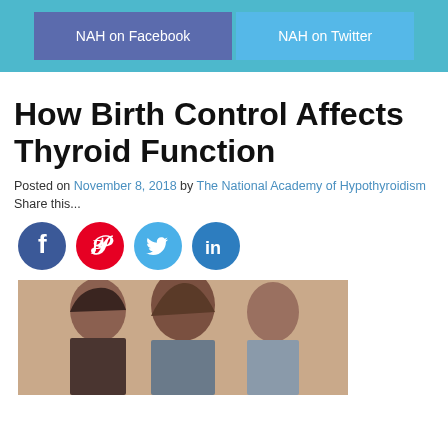NAH on Facebook   NAH on Twitter
How Birth Control Affects Thyroid Function
Posted on November 8, 2018 by The National Academy of Hypothyroidism
Share this...
[Figure (infographic): Social media share icons: Facebook (blue circle), Pinterest (red circle), Twitter (light blue circle), LinkedIn (blue circle)]
[Figure (photo): Photo of women from behind with orange overlay box reading 'thyroid dysfunction and birth control']